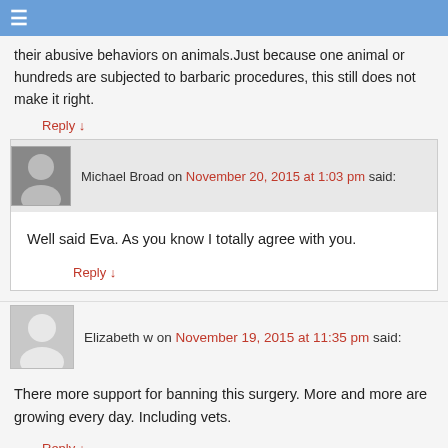≡
their abusive behaviors on animals.Just because one animal or hundreds are subjected to barbaric procedures, this still does not make it right.
Reply ↓
Michael Broad on November 20, 2015 at 1:03 pm said:
Well said Eva. As you know I totally agree with you.
Reply ↓
Elizabeth w on November 19, 2015 at 11:35 pm said:
There more support for banning this surgery. More and more are growing every day. Including vets.
Reply ↓
Michael Broad on November 20, 2015 at 8:48 said: